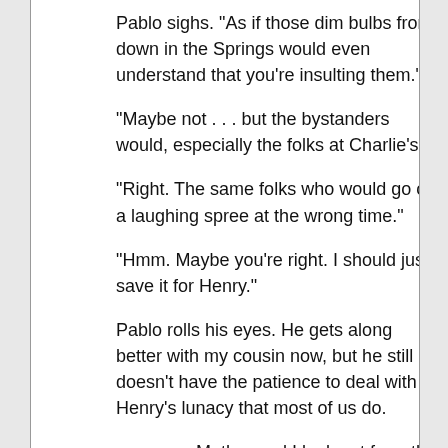Pablo sighs. "As if those dim bulbs from down in the Springs would even understand that you're insulting them."
"Maybe not . . . but the bystanders would, especially the folks at Charlie's."
"Right. The same folks who would go on a laughing spree at the wrong time."
"Hmm. Maybe you're right. I should just save it for Henry."
Pablo rolls his eyes. He gets along better with my cousin now, but he still doesn't have the patience to deal with Henry's lunacy that most of us do.
Mother and I look out from the breakfast balcony some mornings, and this is actually a really pretty town. But Father's already